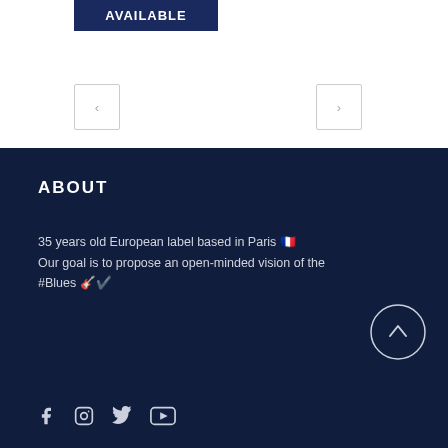AVAILABLE
[Figure (other): Left and right navigation arrow buttons]
ABOUT
35 years old European label based in Paris 🇫🇷
Our goal is to propose an open-minded vision of the #Blues 🎸✔️
[Figure (other): Scroll to top circular arrow button]
[Figure (other): Social media icons: Facebook, Instagram, Twitter, YouTube]